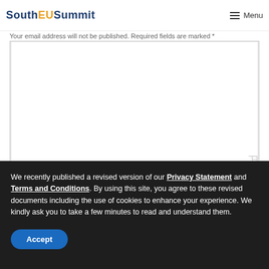South EU Summit | Menu
Your email address will not be published. Required fields are marked *
[Figure (other): Large empty textarea input field for comment submission]
Name *
We recently published a revised version of our Privacy Statement and Terms and Conditions. By using this site, you agree to these revised documents including the use of cookies to enhance your experience. We kindly ask you to take a few minutes to read and understand them.
Accept